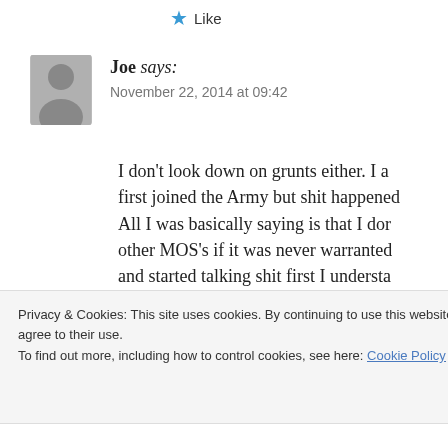★ Like
Joe says:
November 22, 2014 at 09:42
I don't look down on grunts either. I a first joined the Army but shit happened. All I was basically saying is that I don other MOS's if it was never warranted and started talking shit first I understa have a way more dangerous job than t it their sole mission to go generalizing shitbags. Yeah I agree that you have t earned and trash talking others in hum
Privacy & Cookies: This site uses cookies. By continuing to use this website, you agree to their use.
To find out more, including how to control cookies, see here: Cookie Policy
Close and accept